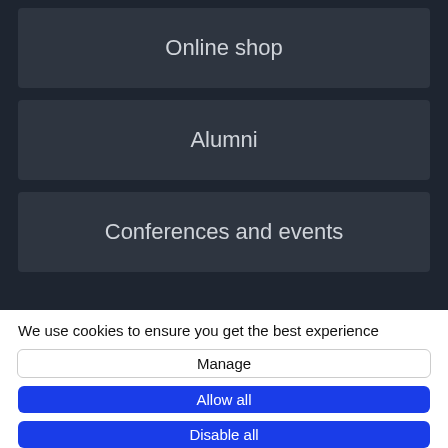Online shop
Alumni
Conferences and events
We use cookies to ensure you get the best experience
Manage
Allow all
Disable all